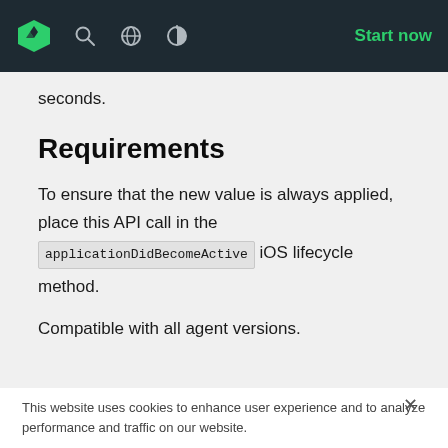Start now
seconds.
Requirements
To ensure that the new value is always applied, place this API call in the applicationDidBecomeActive iOS lifecycle method.
Compatible with all agent versions.
This website uses cookies to enhance user experience and to analyze performance and traffic on our website.